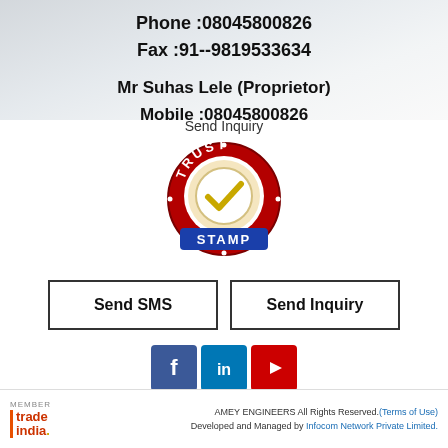Phone :08045800826
Fax :91--9819533634
Mr Suhas Lele (Proprietor)
Mobile :08045800826
Send Inquiry
[Figure (logo): Trust Stamp badge — circular red border with 'TRUST' text at top, checkmark in center, 'STAMP' on blue banner at bottom]
Send SMS
Send Inquiry
[Figure (logo): Social media icons: Facebook (blue f), LinkedIn (blue in), YouTube (red play button)]
AMEY ENGINEERS All Rights Reserved.(Terms of Use) Developed and Managed by Infocom Network Private Limited.